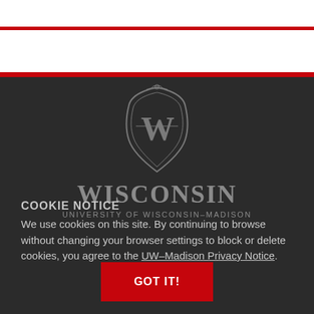[Figure (logo): University of Wisconsin-Madison crest/shield logo with W monogram, with WISCONSIN and UNIVERSITY OF WISCONSIN-MADISON text below]
COOKIE NOTICE
We use cookies on this site. By continuing to browse without changing your browser settings to block or delete cookies, you agree to the UW–Madison Privacy Notice.
GOT IT!